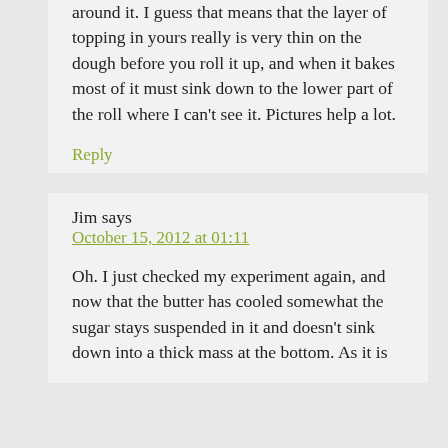around it. I guess that means that the layer of topping in yours really is very thin on the dough before you roll it up, and when it bakes most of it must sink down to the lower part of the roll where I can't see it. Pictures help a lot.
Reply
Jim says
October 15, 2012 at 01:11
Oh. I just checked my experiment again, and now that the butter has cooled somewhat the sugar stays suspended in it and doesn't sink down into a thick mass at the bottom. As it is